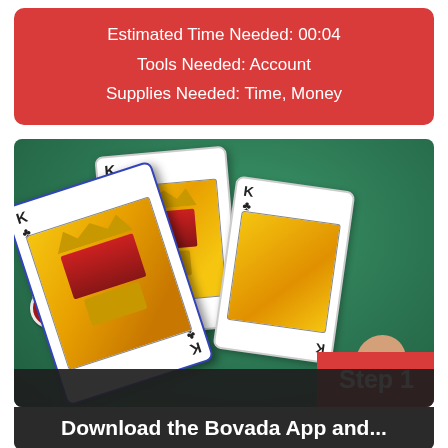Estimated Time Needed: 00:04
Tools Needed: Account
Supplies Needed: Time, Money
[Figure (photo): Playing cards (King of spades and King of clubs) on a green casino felt table with poker chips and a person's hand visible. A red 'Step 1' badge appears in the bottom-right corner of the image.]
Step 1
Download the Bovada App and...